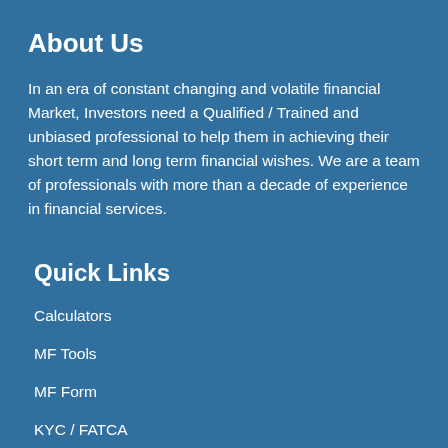About Us
In an era of constant changing and volatile financial Market, Investors need a Qualified / Trained and unbiased professional to help them in achieving their short term and long term financial wishes. We are a team of professionals with more than a decade of experience in financial services.
Quick Links
Calculators
MF Tools
MF Form
KYC / FATCA